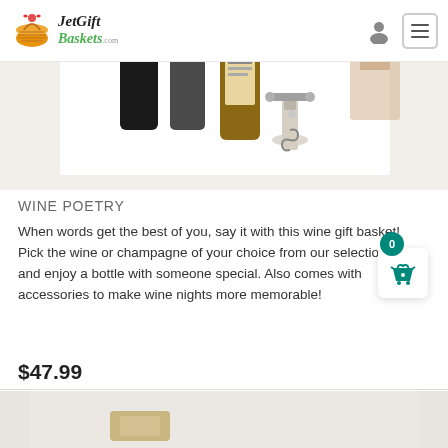[Figure (screenshot): JetGift Baskets website navigation bar with logo, person icon, and hamburger menu button]
[Figure (photo): Product photo of wine gift basket items including wine bottles, corkscrew, and accessories on white background]
WINE POETRY
When words get the best of you, say it with this wine gift basket! Pick the wine or champagne of your choice from our selections and enjoy a bottle with someone special. Also comes with accessories to make wine nights more memorable!
$47.99
[Figure (photo): Bottom portion of next product image, partially visible]